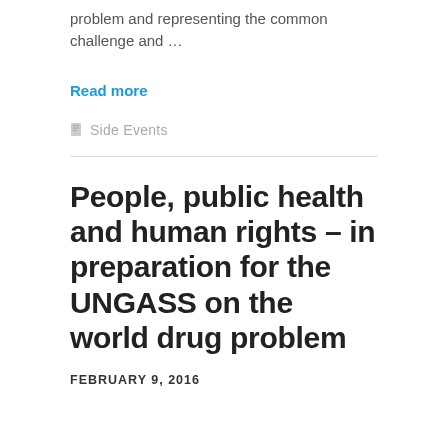problem and representing the common challenge and …
Read more
Side Events
People, public health and human rights – in preparation for the UNGASS on the world drug problem
FEBRUARY 9, 2016